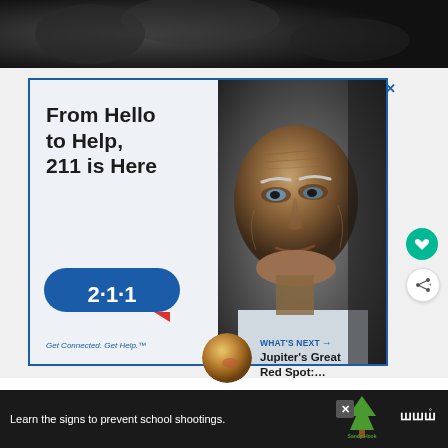[Figure (photo): Dark atmospheric background image at top of page]
[Figure (illustration): Advertisement banner: '211 is Here' service ad with elderly man photo. Left side reads 'From Hello to Help, 211 is Here' with a blue 211 bubble logo and tagline 'Get Connected. Get Help.' Right side shows close-up photo of elderly man's face.]
[Figure (photo): Thumbnail image of Jupiter's Great Red Spot (orange sphere) for 'What's Next' navigation]
WHAT'S NEXT → Jupiter's Great Red Spot:....
[Figure (illustration): Bottom advertisement banner: 'Learn the signs to prevent school shootings.' with Sandy Hook Promise logo]